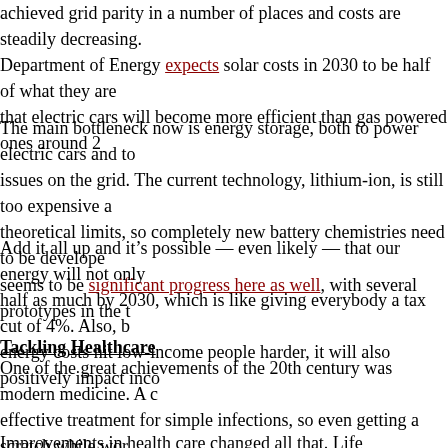achieved grid parity in a number of places and costs are steadily decreasing. Department of Energy expects solar costs in 2030 to be half of what they are that electric cars will become more efficient than gas powered ones around 2
The main bottleneck now is energy storage, both to power electric cars and to issues on the grid. The current technology, lithium-ion, is still too expensive a theoretical limits, so completely new battery chemistries need to be develope seems to be significant progress here as well, with several prototypes in the t
Add it all up and it's possible — even likely — that our energy will not only half as much by 2030, which is like giving everybody a tax cut of 4%. Also, b energy costs hit low-income people harder, it will also positively impact inco
Tackling Healthcare
One of the great achievements of the 20th century was modern medicine. A c effective treatment for simple infections, so even getting a scratch while wor turn deadly. Conditions like heart disease and cancer were basically untreata sick, there was little you could do except wait to die.
Improvements in health care changed all that. Life expectancy in developed c